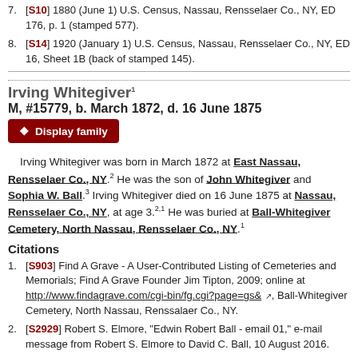7. [S10] 1880 (June 1) U.S. Census, Nassau, Rensselaer Co., NY, ED 176, p. 1 (stamped 577).
8. [S14] 1920 (January 1) U.S. Census, Nassau, Rensselaer Co., NY, ED 16, Sheet 1B (back of stamped 145).
Irving Whitegiver
M, #15779, b. March 1872, d. 16 June 1875
Irving Whitegiver was born in March 1872 at East Nassau, Rensselaer Co., NY. He was the son of John Whitegiver and Sophia W. Ball. Irving Whitegiver died on 16 June 1875 at Nassau, Rensselaer Co., NY, at age 3. He was buried at Ball-Whitegiver Cemetery, North Nassau, Rensselaer Co., NY.
Citations
1. [S903] Find A Grave - A User-Contributed Listing of Cemeteries and Memorials; Find A Grave Founder Jim Tipton, 2009; online at http://www.findagrave.com/cgi-bin/fg.cgi?page=gs&, Ball-Whitegiver Cemetery, North Nassau, Rensslaer Co., NY.
2. [S2929] Robert S. Elmore, "Edwin Robert Ball - email 01," e-mail message from Robert S. Elmore to David C. Ball, 10 August 2016.